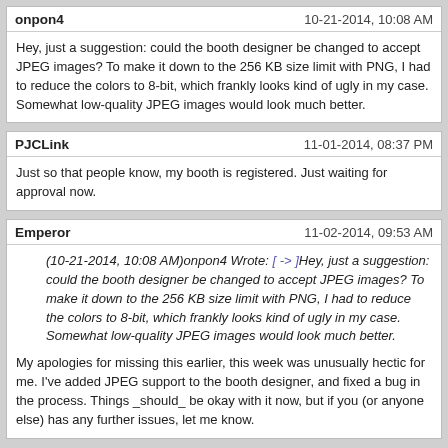onpon4 — 10-21-2014, 10:08 AM
Hey, just a suggestion: could the booth designer be changed to accept JPEG images? To make it down to the 256 KB size limit with PNG, I had to reduce the colors to 8-bit, which frankly looks kind of ugly in my case. Somewhat low-quality JPEG images would look much better.
PJCLink — 11-01-2014, 08:37 PM
Just so that people know, my booth is registered. Just waiting for approval now.
Emperor — 11-02-2014, 09:53 AM
(10-21-2014, 10:08 AM)onpon4 Wrote: [-> ] Hey, just a suggestion: could the booth designer be changed to accept JPEG images? To make it down to the 256 KB size limit with PNG, I had to reduce the colors to 8-bit, which frankly looks kind of ugly in my case. Somewhat low-quality JPEG images would look much better.
My apologies for missing this earlier, this week was unusually hectic for me. I've added JPEG support to the booth designer, and fixed a bug in the process. Things _should_ be okay with it now, but if you (or anyone else) has any further issues, let me know.